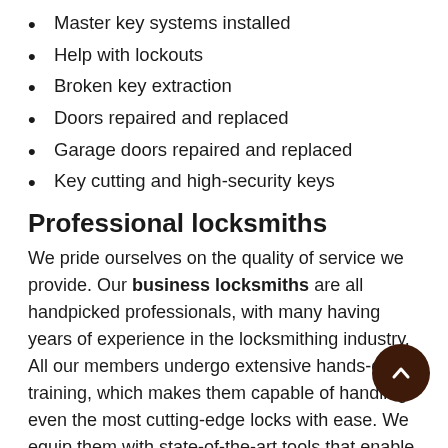Master key systems installed
Help with lockouts
Broken key extraction
Doors repaired and replaced
Garage doors repaired and replaced
Key cutting and high-security keys
Professional locksmiths
We pride ourselves on the quality of service we provide. Our business locksmiths are all handpicked professionals, with many having years of experience in the locksmithing industry. All our members undergo extensive hands-on training, which makes them capable of handling even the most cutting-edge locks with ease. We equip them with state-of-the-art tools that enable them to perform their duties with minimal hassle.
On-site availability
Our business locksmiths provide a doorstep service to all commercial properties in Denver and surrounding